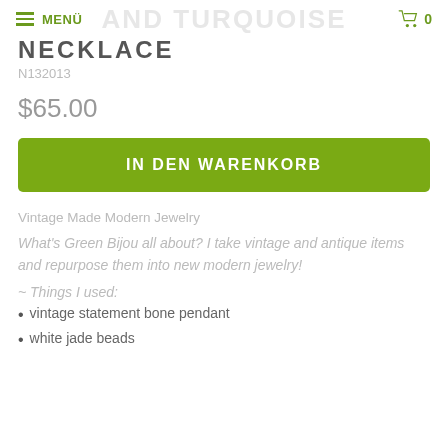MENÜ  [cart icon] 0
NECKLACE
N132013
$65.00
IN DEN WARENKORB
Vintage Made Modern Jewelry
What's Green Bijou all about? I take vintage and antique items and repurpose them into new modern jewelry!
~ Things I used:
vintage statement bone pendant
white jade beads